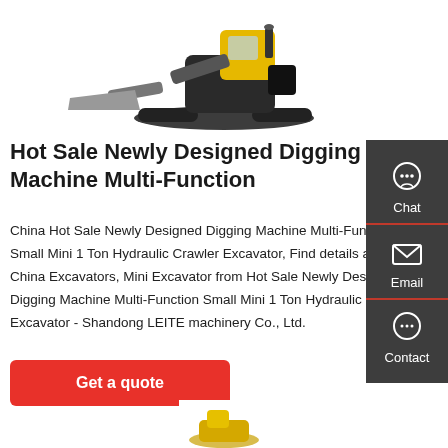[Figure (photo): Mini hydraulic crawler excavator (yellow and black) shown from the side with bucket/blade attachment, top portion visible]
Hot Sale Newly Designed Digging Machine Multi-Function
China Hot Sale Newly Designed Digging Machine Multi-Function Small Mini 1 Ton Hydraulic Crawler Excavator, Find details about China Excavators, Mini Excavator from Hot Sale Newly Designed Digging Machine Multi-Function Small Mini 1 Ton Hydraulic Crawler Excavator - Shandong LEITE machinery Co., Ltd.
[Figure (other): Sidebar panel with Chat, Email, and Contact icons on dark grey background]
[Figure (photo): Partial view of another excavator at the bottom of the page]